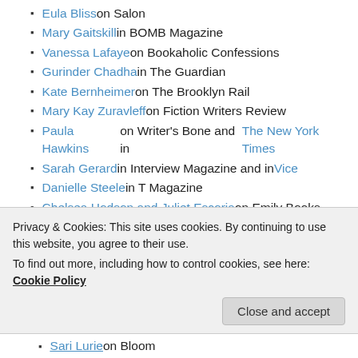Eula Bliss on Salon
Mary Gaitskill in BOMB Magazine
Vanessa Lafaye on Bookaholic Confessions
Gurinder Chadha in The Guardian
Kate Bernheimer on The Brooklyn Rail
Mary Kay Zuravleff on Fiction Writers Review
Paula Hawkins on Writer's Bone and in The New York Times
Sarah Gerard in Interview Magazine and in Vice
Danielle Steele in T Magazine
Chelsea Hodson and Juliet Escoria on Emily Books
Tiphanie Yanique on Publishers Weekly
Emma Hooper on Open Book
Samantha Harvey on Salon
Privacy & Cookies: This site uses cookies. By continuing to use this website, you agree to their use. To find out more, including how to control cookies, see here: Cookie Policy
Sari Lurie on Bloom